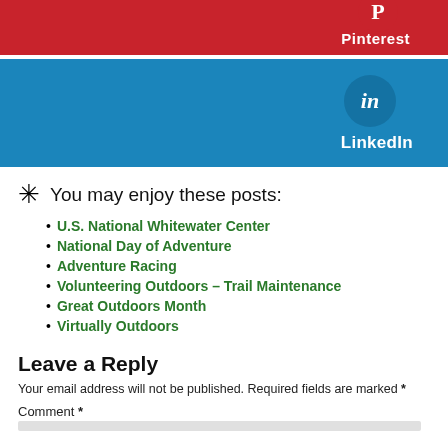[Figure (other): Pinterest social share button bar (red background with Pinterest label and icon)]
[Figure (other): LinkedIn social share button bar (blue background with LinkedIn icon circle and label)]
✳ You may enjoy these posts:
U.S. National Whitewater Center
National Day of Adventure
Adventure Racing
Volunteering Outdoors – Trail Maintenance
Great Outdoors Month
Virtually Outdoors
Leave a Reply
Your email address will not be published. Required fields are marked *
Comment *